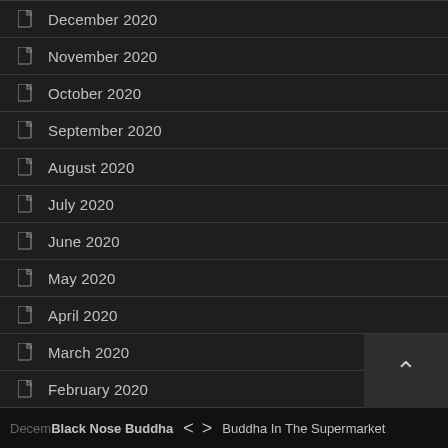December 2020
November 2020
October 2020
September 2020
August 2020
July 2020
June 2020
May 2020
April 2020
March 2020
February 2020
January 2020
Decem | Black Nose Buddha  <  >  Buddha In The Supermarket